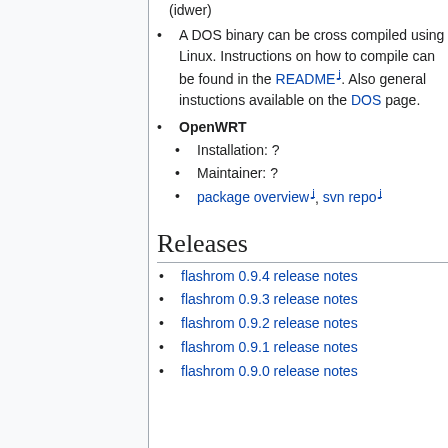(idwer)
A DOS binary can be cross compiled using Linux. Instructions on how to compile can be found in the README. Also general instuctions available on the DOS page.
OpenWRT
Installation: ?
Maintainer: ?
package overview, svn repo
Releases
flashrom 0.9.4 release notes
flashrom 0.9.3 release notes
flashrom 0.9.2 release notes
flashrom 0.9.1 release notes
flashrom 0.9.0 release notes